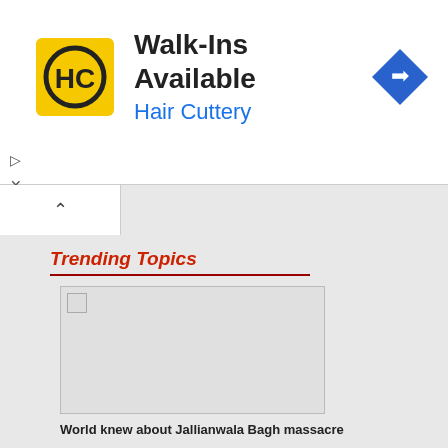[Figure (advertisement): Hair Cuttery advertisement banner with yellow HC logo, text 'Walk-Ins Available' and 'Hair Cuttery', and a blue navigation diamond icon]
Trending Topics
[Figure (photo): Broken/unloaded image placeholder in a bordered rectangle]
World knew about Jallianwala Bagh massacre